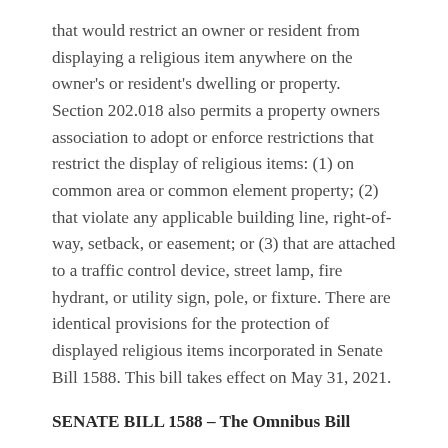that would restrict an owner or resident from displaying a religious item anywhere on the owner's or resident's dwelling or property. Section 202.018 also permits a property owners association to adopt or enforce restrictions that restrict the display of religious items: (1) on common area or common element property; (2) that violate any applicable building line, right-of-way, setback, or easement; or (3) that are attached to a traffic control device, street lamp, fire hydrant, or utility sign, pole, or fixture. There are identical provisions for the protection of displayed religious items incorporated in Senate Bill 1588. This bill takes effect on May 31, 2021.
SENATE BILL 1588 – The Omnibus Bill
Senate Bill 1588 has 27 separate sections that add or modify statutory provisions in Chapters 202, 207 and